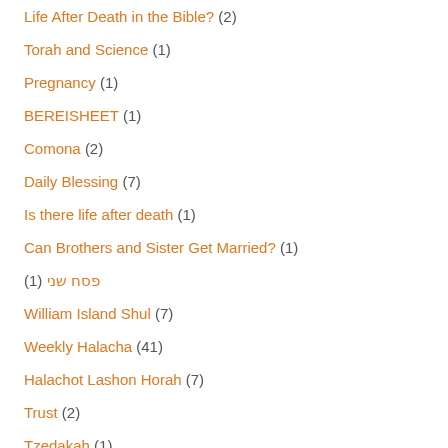Life After Death in the Bible? (2)
Torah and Science (1)
Pregnancy (1)
BEREISHEET (1)
Comona (2)
Daily Blessing (7)
Is there life after death (1)
Can Brothers and Sister Get Married? (1)
(1) פסח שני
William Island Shul (7)
Weekly Halacha (41)
Halachot Lashon Horah (7)
Trust (2)
Tzedakah (1)